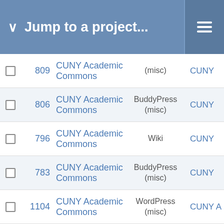Jump to a project...
|  | # | Project | Category | Assignee |
| --- | --- | --- | --- | --- |
| ☐ | 809 | CUNY Academic Commons | (misc) | CUNY |
| ☐ | 806 | CUNY Academic Commons | BuddyPress (misc) | CUNY |
| ☐ | 796 | CUNY Academic Commons | Wiki | CUNY |
| ☐ | 783 | CUNY Academic Commons | BuddyPress (misc) | CUNY |
| ☐ | 1104 | CUNY Academic Commons | WordPress (misc) | CUNY A |
| ☐ | 773 | CUNY Academic Commons | WordPress (misc) | CUNY A |
| ☐ | 1325 | CUNY Academic Commons | WordPress (misc) | CUNY |
| ☐ | 1324 | CUNY Academic Commons | WordPress (misc) | CUNY |